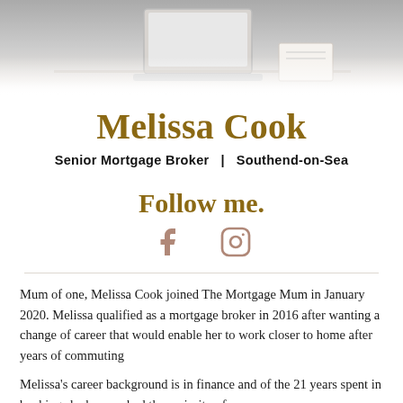[Figure (photo): Partial photo of a person working at a desk with a laptop, seen from above/side angle, desk scene with notebook and papers]
Melissa Cook
Senior Mortgage Broker   |   Southend-on-Sea
Follow me.
[Figure (illustration): Facebook and Instagram social media icons]
Mum of one, Melissa Cook joined The Mortgage Mum in January 2020. Melissa qualified as a mortgage broker in 2016 after wanting a change of career that would enable her to work closer to home after years of commuting
Melissa's career background is in finance and of the 21 years spent in banking she has worked the majority of